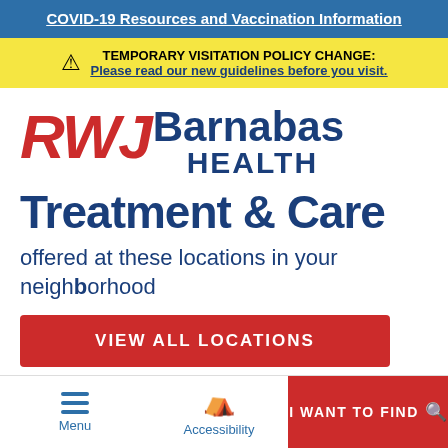COVID-19 Resources and Vaccination Information
TEMPORARY VISITATION POLICY CHANGE: Please read our new guidelines before you visit.
[Figure (logo): RWJBarnabas Health logo with red italic RWJ and blue Barnabas Health text]
Treatment & Care
offered at these locations in your neighborhood
VIEW ALL LOCATIONS
Menu  Accessibility  I WANT TO FIND